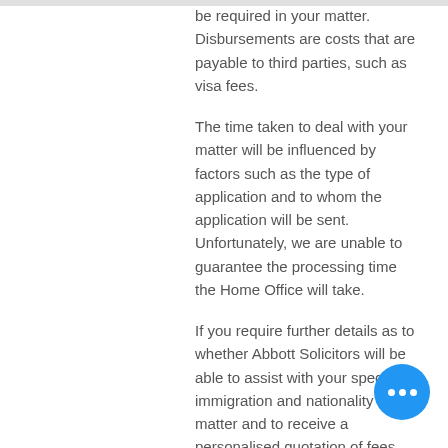be required in your matter. Disbursements are costs that are payable to third parties, such as visa fees.
The time taken to deal with your matter will be influenced by factors such as the type of application and to whom the application will be sent. Unfortunately, we are unable to guarantee the processing time the Home Office will take.
If you require further details as to whether Abbott Solicitors will be able to assist with your specific immigration and nationality matter and to receive a personalised quotation of fees, please do not hesitate to contact us.
How long will my application take:
We cannot confirm that how long the Home Office/ court will take to process your application/ appeal. We suggest you refer to the Home Office / court guidance which is available online on its current processing times. We will normally be able to submit